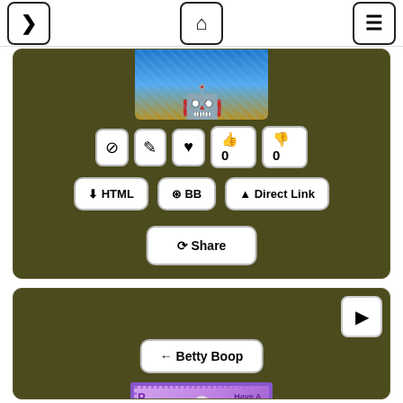[Figure (screenshot): Navigation bar with three icon buttons: right arrow, home icon, hamburger menu]
[Figure (screenshot): Dark olive/khaki colored card with partial image of a character in blue sparkly outfit at top, action icon buttons (block, edit, heart, thumbs up 0, thumbs down 0), and three action buttons: HTML, BB, Direct Link, plus a Share button]
[Figure (screenshot): Dark olive card with play button icon top right, a back navigation button labeled 'Betty Boop', and a sparkly purple-bordered GIF image of Betty Boop character with text 'Have A Great Weekend' and PGIF letters on left side, purple flowers at bottom]